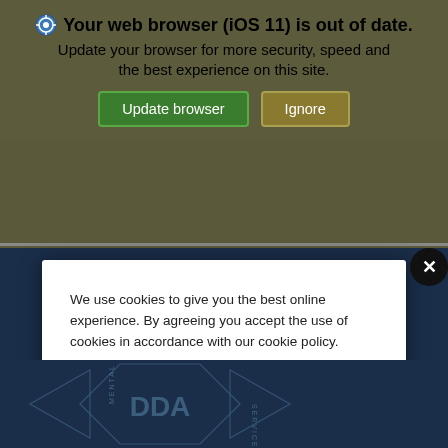Your web browser (iOS 11) is out of date. Update your browser for more security, speed and the best experience on this site.
[Figure (screenshot): Two buttons: green 'Update browser' and olive/brown 'Ignore']
[Figure (screenshot): Close button (x) top right of modal]
We use cookies to give you the best online experience. By agreeing you accept the use of cookies in accordance with our cookie policy.
[Figure (screenshot): Two buttons: gray 'MY PREFERENCES' and green 'I ACCEPT']
Privacy Center  Cookie Policy
[Figure (logo): DDA Mental Health Service logo on dark navy background]